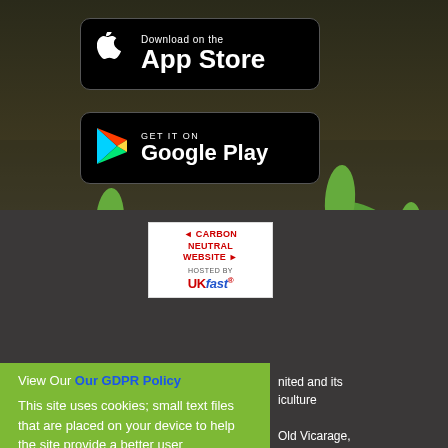[Figure (screenshot): App Store download button on dark background with plant/seedling photo]
[Figure (screenshot): Google Play download button on dark background with plant/seedling photo]
[Figure (logo): Carbon Neutral Website hosted by UKFast badge]
View Our Our GDPR Policy
nited and its iculture
This site uses cookies; small text files that are placed on your device to help the site provide a better user experience. No personal information is collected.
Old Vicarage,